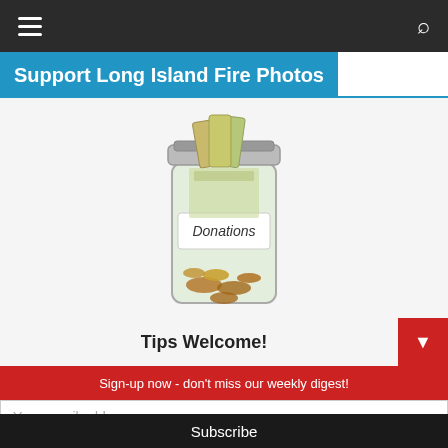≡  🔍
Support Long Island Fire Photos
[Figure (photo): A glass mason jar labeled 'Donations' filled with paper money and coins]
Tips Welcome!
Sign-up now - don't miss our weekly digest!
Your email address..
Subscribe